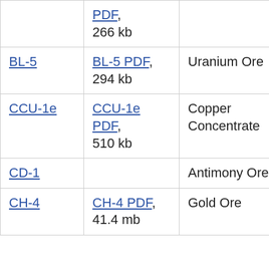|  | PDF, 266 kb |  |  |
| BL-5 | BL-5 PDF, 294 kb | Uranium Ore | yes |
| CCU-1e | CCU-1e PDF, 510 kb | Copper Concentrate |  |
| CD-1 |  | Antimony Ore |  |
| CH-4 | CH-4 PDF, 41.4 mb | Gold Ore |  |